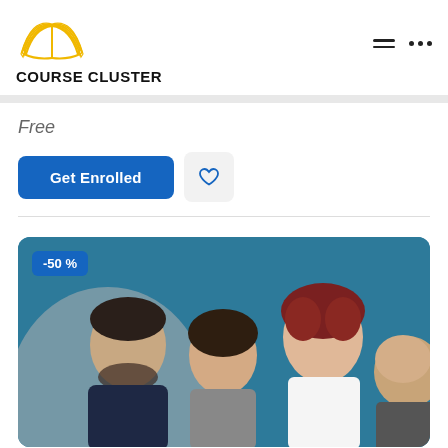[Figure (logo): Course Cluster logo: open book icon in golden/yellow outline above the text COURSE CLUSTER in bold black]
Free
Get Enrolled
[Figure (photo): Group of four people (two men and two women) looking down at something, set against a teal/blue background with a gray geometric shape. A -50% discount badge is in the top-left corner.]